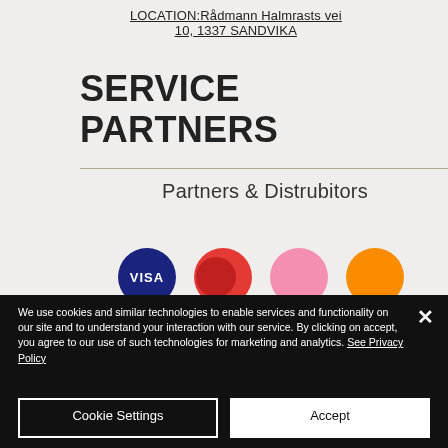LOCATION:Rådmann Halmrasts vei 10, 1337 SANDVIKA
SERVICE PARTNERS
Partners & Distrubitors
[Figure (logo): Payment method icons: Visa (dark blue circle), Mastercard (red circles), pink circle, orange circle]
We use cookies and similar technologies to enable services and functionality on our site and to understand your interaction with our service. By clicking on accept, you agree to our use of such technologies for marketing and analytics. See Privacy Policy